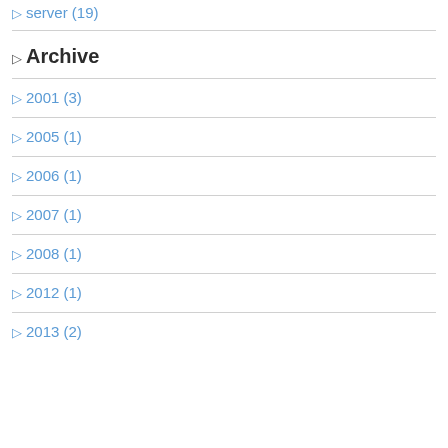▷ server (19)
▷ Archive
▷ 2001 (3)
▷ 2005 (1)
▷ 2006 (1)
▷ 2007 (1)
▷ 2008 (1)
▷ 2012 (1)
▷ 2013 (2)